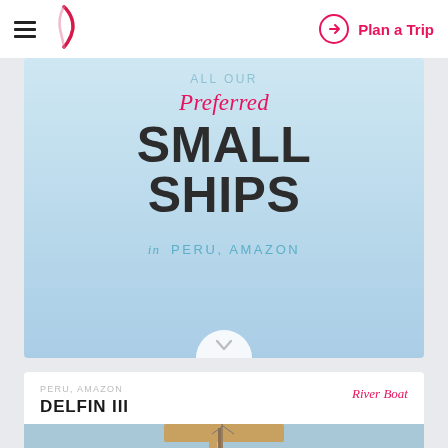Plan a Trip
ALL OUR Preferred SMALL SHIPS in PERU, AMAZON
PERU, AMAZON   River Boat
DELFIN III
[Figure (photo): Photo of the Delfin III river boat ship on water, showing the vessel's upper structure and mast against a blue sky]